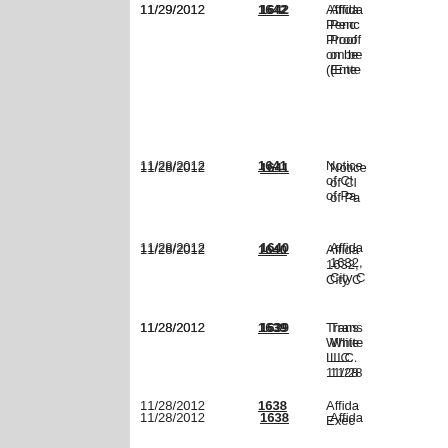| Date | No. | Description |
| --- | --- | --- |
| 11/29/2012 | 1642 | Affida... Penc... Proof... on be... (Ente... |
| 11/28/2012 | 1641 | Notice... of Cl... of Pa... |
| 11/28/2012 | 1640 | Affida... 1632,... City C... |
| 11/28/2012 | 1639 | Trans... White... LLC. ... 11/28... |
| 11/28/2012 | 1638 | Affida... Exec... Exper... behal... (Ente... |
| 11/28/2012 | 1637 | Decla... the D... Petiti... |